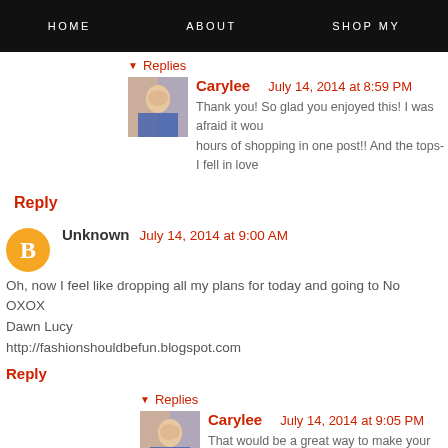HOME   ABOUT   SHOP MY
Replies
Carylee   July 14, 2014 at 8:59 PM
Thank you! So glad you enjoyed this! I was afraid it wou hours of shopping in one post!! And the tops- I fell in love
Reply
Unknown   July 14, 2014 at 9:00 AM
Oh, now I feel like dropping all my plans for today and going to No OXOX Dawn Lucy http://fashionshouldbefun.blogspot.com
Reply
Replies
Carylee   July 14, 2014 at 9:05 PM
That would be a great way to make your Monday less Man